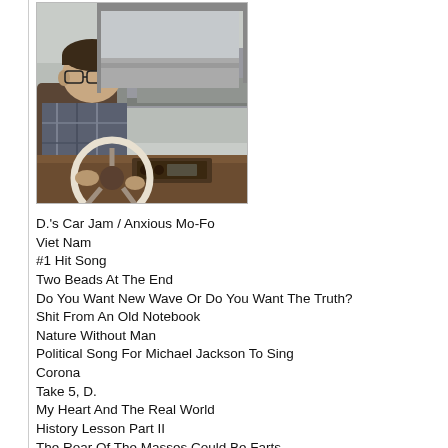[Figure (photo): Album cover photo for 'Double Nickels on the Dime' showing a man driving a car, viewed from the back seat, with a steering wheel, dashboard with radio, and rearview mirror visible. Yellow text at the bottom reads 'DOUBLE NICKELS ON THE DIME'.]
D.'s Car Jam / Anxious Mo-Fo
Viet Nam
#1 Hit Song
Two Beads At The End
Do You Want New Wave Or Do You Want The Truth?
Shit From An Old Notebook
Nature Without Man
Political Song For Michael Jackson To Sing
Corona
Take 5, D.
My Heart And The Real World
History Lesson Part II
The Roar Of The Masses Could Be Farts
Themselves
This Ain't No Picnic